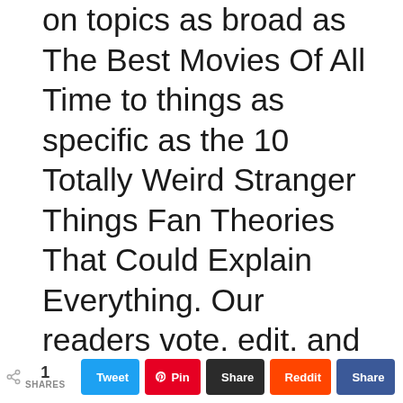on topics as broad as The Best Movies Of All Time to things as specific as the 10 Totally Weird Stranger Things Fan Theories That Could Explain Everything. Our readers vote, edit, and re-rank the stories as they see fit. Founded in 2009, the company made a number of breakthroughs in the last 18 months, which has led to
1 SHARES  [Twitter] [Pinterest] [Buffer] [Reddit] [Facebook]